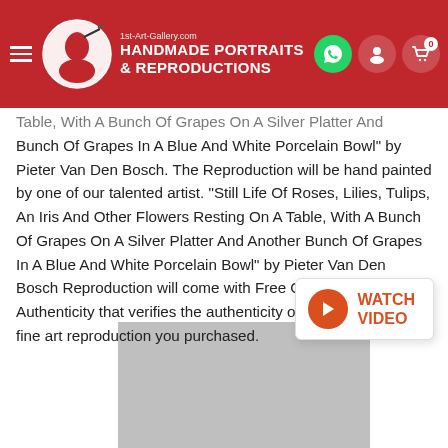1st-Art-Gallery.com HANDMADE PORTRAITS & REPRODUCTIONS
Table, With A Bunch Of Grapes On A Silver Platter And Another Bunch Of Grapes In A Blue And White Porcelain Bowl" by Pieter Van Den Bosch. The Reproduction will be hand painted by one of our talented artist. "Still Life Of Roses, Lilies, Tulips, An Iris And Other Flowers Resting On A Table, With A Bunch Of Grapes On A Silver Platter And Another Bunch Of Grapes In A Blue And White Porcelain Bowl" by Pieter Van Den Bosch Reproduction will come with Free Certificate of Authenticity that verifies the authenticity of the hand painted fine art reproduction you purchased.
[Figure (other): Watch Video button with orange play circle icon]
[Figure (photo): Gray placeholder rectangle representing an artwork image]